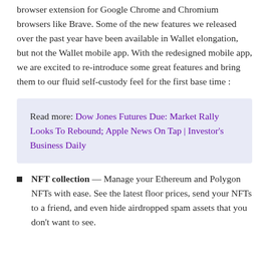browser extension for Google Chrome and Chromium browsers like Brave. Some of the new features we released over the past year have been available in Wallet elongation, but not the Wallet mobile app. With the redesigned mobile app, we are excited to re-introduce some great features and bring them to our fluid self-custody feel for the first base time :
Read more: Dow Jones Futures Due: Market Rally Looks To Rebound; Apple News On Tap | Investor's Business Daily
NFT collection — Manage your Ethereum and Polygon NFTs with ease. See the latest floor prices, send your NFTs to a friend, and even hide airdropped spam assets that you don't want to see.